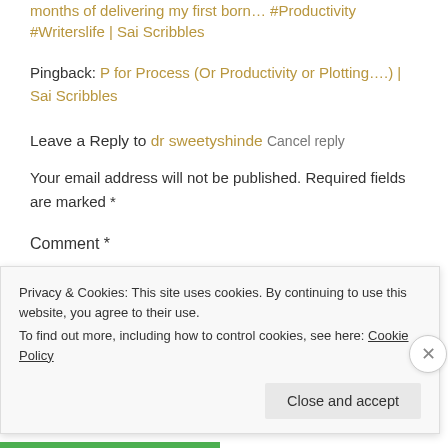months of delivering my first born… #Productivity #Writerslife | Sai Scribbles
Pingback: P for Process (Or Productivity or Plotting….) | Sai Scribbles
Leave a Reply to dr sweetyshinde Cancel reply
Your email address will not be published. Required fields are marked *
Comment *
Privacy & Cookies: This site uses cookies. By continuing to use this website, you agree to their use.
To find out more, including how to control cookies, see here: Cookie Policy